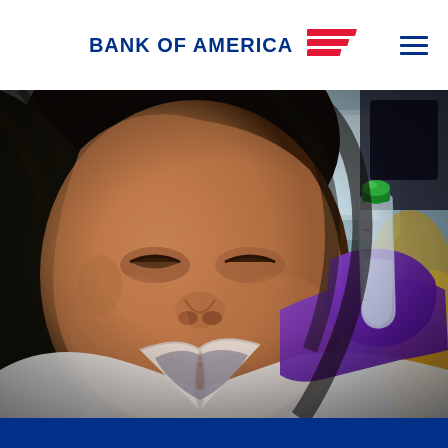BANK OF AMERICA
[Figure (photo): A woman scientist in a white lab coat and purple gloves holds up a small clear vial with a green cap, examining it in a laboratory setting. She is smiling slightly. Lab equipment is visible in the background.]